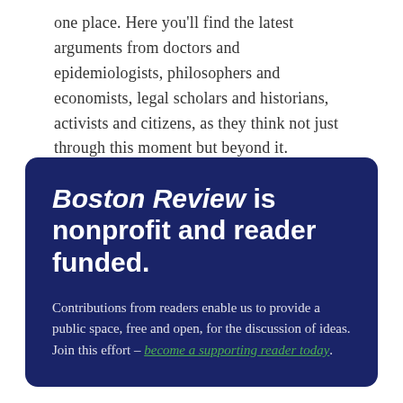one place. Here you'll find the latest arguments from doctors and epidemiologists, philosophers and economists, legal scholars and historians, activists and citizens, as they think not just through this moment but beyond it.
[Figure (infographic): Dark navy blue rounded rectangle promotional box for Boston Review. Contains large bold italic heading 'Boston Review is nonprofit and reader funded.' followed by body text about reader contributions and a green underlined link 'become a supporting reader today.']